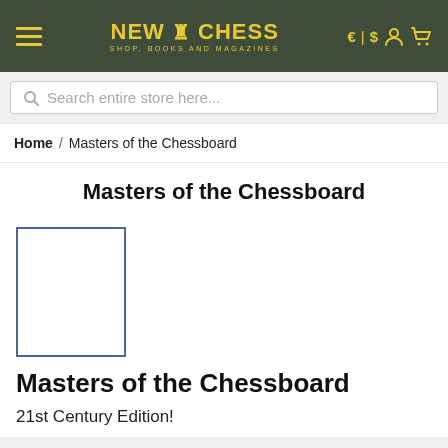NEW IN CHESS — SHOP, BOOKS AND MAGAZINES
Search entire store here...
Home / Masters of the Chessboard
Masters of the Chessboard
[Figure (other): Book cover placeholder — white rectangle with blue border]
Masters of the Chessboard
21st Century Edition!